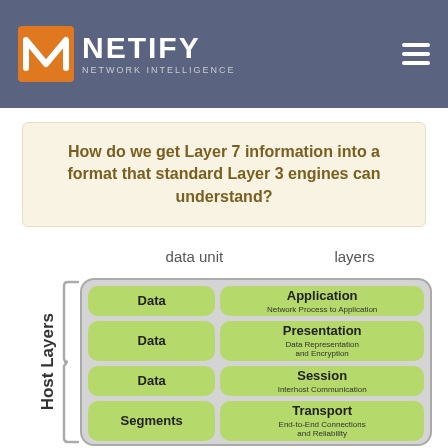NETIFY NETWORK INTELLIGENCE
How do we get Layer 7 information into a format that standard Layer 3 engines can understand?
[Figure (infographic): OSI model diagram showing Host Layers. Two columns labeled 'data unit' and 'layers'. Rows: Data / Application (Network Process to Application), Data / Presentation (Data Representation and Encryption), Data / Session (Interhost Communication), Segments / Transport (End-to-End Connections and Reliability). All cells are green rounded rectangles within a gray rounded container. A curly brace on the left labeled 'Host Layers' spans all four rows.]